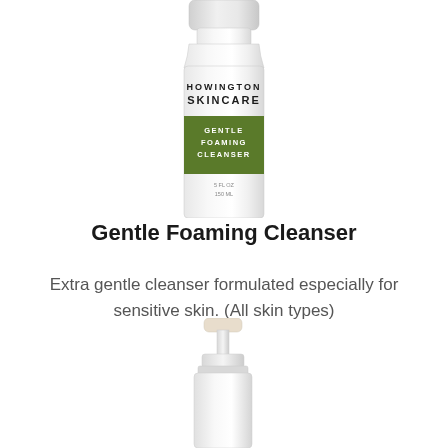[Figure (photo): Top portion of a white Howington Skincare Gentle Foaming Cleanser bottle with green label band showing product name]
Gentle Foaming Cleanser
Extra gentle cleanser formulated especially for sensitive skin. (All skin types)
[Figure (photo): Bottom portion of a white pump dispenser bottle, showing pump head and upper bottle body]